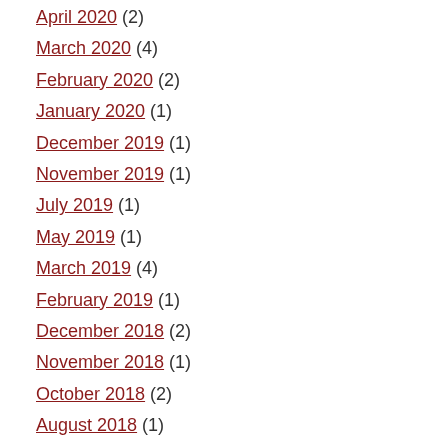April 2020 (2)
March 2020 (4)
February 2020 (2)
January 2020 (1)
December 2019 (1)
November 2019 (1)
July 2019 (1)
May 2019 (1)
March 2019 (4)
February 2019 (1)
December 2018 (2)
November 2018 (1)
October 2018 (2)
August 2018 (1)
July 2018 (2)